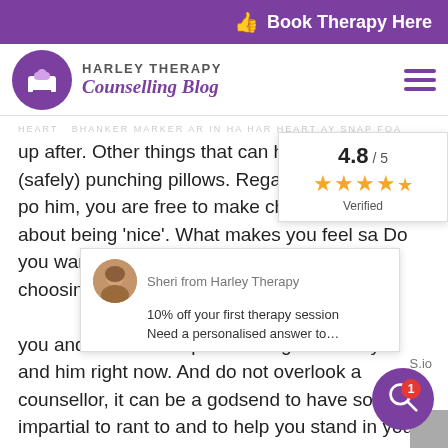Book Therapy Here
[Figure (logo): Harley Therapy logo circle with armchair icon]
HARLEY THERAPY Counselling Blog
up after. Other things that can help involve (safely) punching pillows. Regarding finding your po him, you are free to make choices here. Fo about being ‘nice’. What makes you feel sa Do you want to now email or text? Or to both choosing one you and do the dro speak through a la for you and him right now. And do not overlook a counsellor, it can be a godsend to have someo impartial to rant to and to help you stand in you power. Best, HT.
[Figure (infographic): Rating card showing 4.8/5 with 4.5 orange stars and Verified label]
[Figure (screenshot): Chat widget with Sheri from Harley Therapy avatar, offering 10% off first therapy session and Need a personalised answer to...]